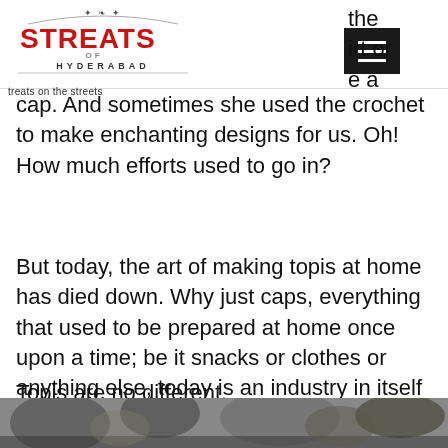Streats of Hyderabad — treats on the streets
the
irt or
e a
cap. And sometimes she used the crochet to make enchanting designs for us. Oh! How much efforts used to go in?
But today, the art of making topis at home has died down. Why just caps, everything that used to be prepared at home once upon a time; be it snacks or clothes or anything else, today is an industry in itself and abundance of that is available in the market.
Topis are no different.
[Figure (photo): Black and white photo strip at the bottom of the page showing trees or outdoor scene]